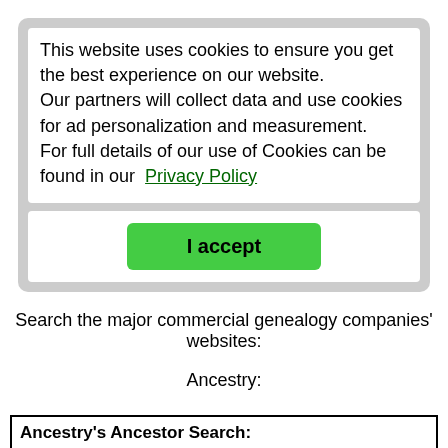This website uses cookies to ensure you get the best experience on our website.
Our partners will collect data and use cookies for ad personalization and measurement.
For full details of our use of Cookies can be found in our Privacy Policy
I accept
Search the major commercial genealogy companies' websites:
Ancestry:
Ancestry's Ancestor Search:
Enter as much information as you know about your